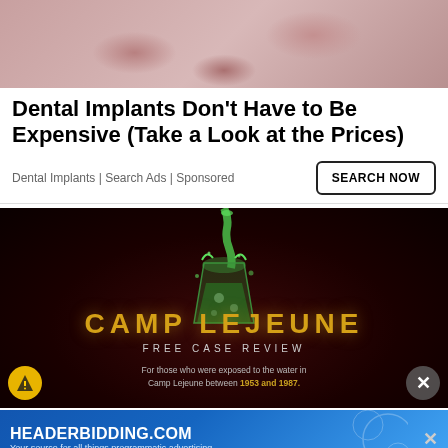[Figure (photo): Close-up of human skin texture, pinkish-red tones, appears to be a face or body skin detail]
Dental Implants Don't Have to Be Expensive (Take a Look at the Prices)
Dental Implants | Search Ads | Sponsored
[Figure (photo): Camp Lejeune Free Case Review advertisement. Dark red/black background with a green glowing drink glass being poured. Large gold/yellow text reads CAMP LEJEUNE, below it FREE CASE REVIEW. Caption reads: For those who were exposed to the water in Camp Lejeune between 1953 and 1987.]
[Figure (screenshot): HeaderBidding.com banner advertisement with blue gradient background. Text: HEADERBIDDING.COM - Your source for all things programmatic advertising.]
PAC
sick